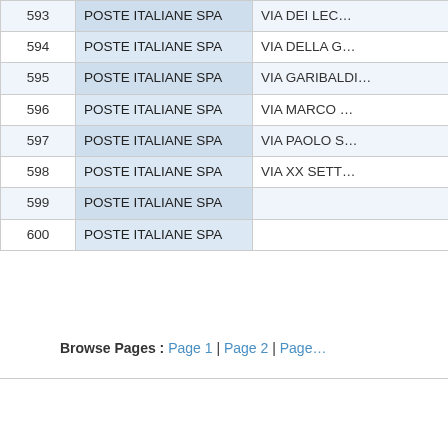| # | Name | Address |
| --- | --- | --- |
| 593 | POSTE ITALIANE SPA | VIA DEI LEC… |
| 594 | POSTE ITALIANE SPA | VIA DELLA G… |
| 595 | POSTE ITALIANE SPA | VIA GARIBALDI… |
| 596 | POSTE ITALIANE SPA | VIA MARCO … |
| 597 | POSTE ITALIANE SPA | VIA PAOLO S… |
| 598 | POSTE ITALIANE SPA | VIA XX SETT… |
| 599 | POSTE ITALIANE SPA |  |
| 600 | POSTE ITALIANE SPA |  |
Browse Pages : Page 1 | Page 2 | Page…